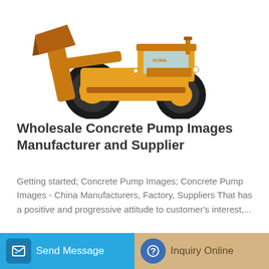[Figure (photo): Yellow wheel loader / front-end loader construction machine on white background]
Wholesale Concrete Pump Images Manufacturer and Supplier
Getting started; Concrete Pump Images; Concrete Pump Images - China Manufacturers, Factory, Suppliers That has a positive and progressive attitude to customer's interest,...
Learn More
Send Message
Inquiry Online